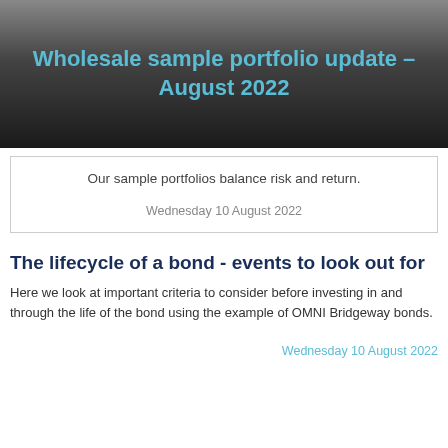Wholesale sample portfolio update – August 2022
Our sample portfolios balance risk and return.
Wednesday 10 August 2022
The lifecycle of a bond - events to look out for
Here we look at important criteria to consider before investing in and through the life of the bond using the example of OMNI Bridgeway bonds.
Wednesday 10 August 2022